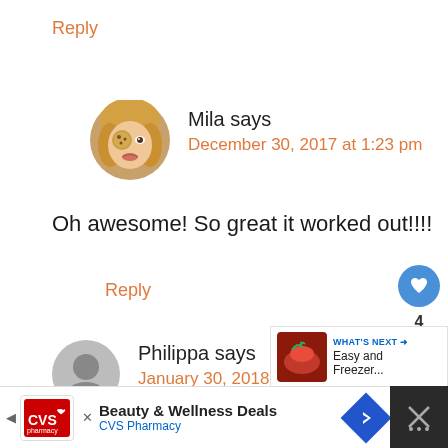Reply
[Figure (photo): Circular avatar of Mila: blonde woman holding cookie in front of eye]
Mila says
December 30, 2017 at 1:23 pm
Oh awesome! So great it worked out!!!!
Reply
[Figure (photo): Circular grey placeholder avatar for Philippa]
Philippa says
January 30, 2018 at 3:17 pm
Hi
[Figure (screenshot): What's Next panel with food image and text 'Easy and Freezer...']
[Figure (infographic): Social sharing buttons: heart (4 likes) and share icon]
[Figure (screenshot): CVS Pharmacy advertisement banner: Beauty & Wellness Deals]